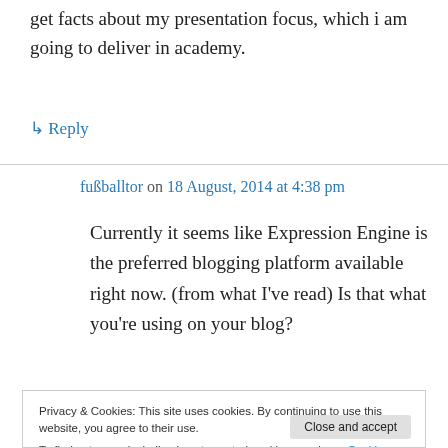get facts about my presentation focus, which i am going to deliver in academy.
↳ Reply
fußballtor on 18 August, 2014 at 4:38 pm
Currently it seems like Expression Engine is the preferred blogging platform available right now. (from what I've read) Is that what you're using on your blog?
Privacy & Cookies: This site uses cookies. By continuing to use this website, you agree to their use. To find out more, including how to control cookies, see here: Cookie Policy
Close and accept
blogging.